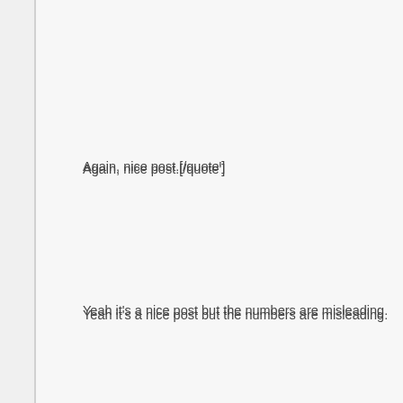Again, nice post.[/quote']
Yeah it's a nice post but the numbers are misleading.
Fedor's last 5 fights:
Brett Rogers 10-0 (W) 10-0 over last ten fights. Top 10 HW
Ok not much denying that the guy is undefeated, but who has he fought. It's not only about records, it's about competition. The guy's only high profile win if you can even call it that was Andrei Arlovski. The other 9 are nobodies. Plus that was right after a devestating KO at the hands of Fedor and he was def still